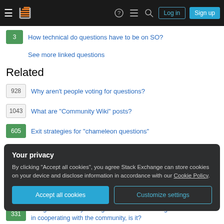Stack Exchange navigation bar with logo, help, inbox, search, Log in, Sign up buttons
3 — How technical do questions have to be on SO?
See more linked questions
Related
928 — Why aren't people voting for questions?
1043 — What are "Community Wiki" posts?
605 — Exit strategies for "chameleon questions"
731 — Your answer is in another castle: when is an answer not an answer?
Your privacy
By clicking "Accept all cookies", you agree Stack Exchange can store cookies on your device and disclose information in accordance with our Cookie Policy.
331 — Firing a community manager over Stack Exchange is not interested in cooperating with the community, is it?